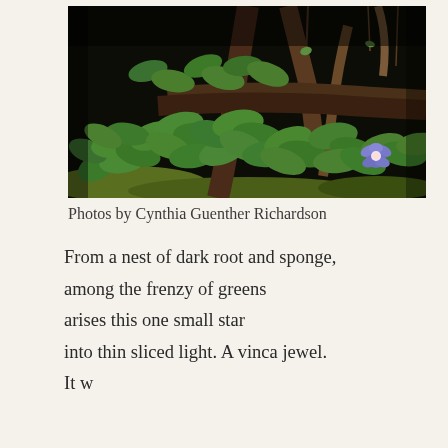[Figure (photo): Forest floor photograph showing dense green leafy vinca plants with a single small purple/blue flower visible in the right portion, among dark roots and tree trunks in a shaded woodland setting.]
Photos by Cynthia Guenther Richardson
From a nest of dark root and sponge,

among the frenzy of greens

arises this one small star

into thin sliced light. A vinca jewel.

It w...